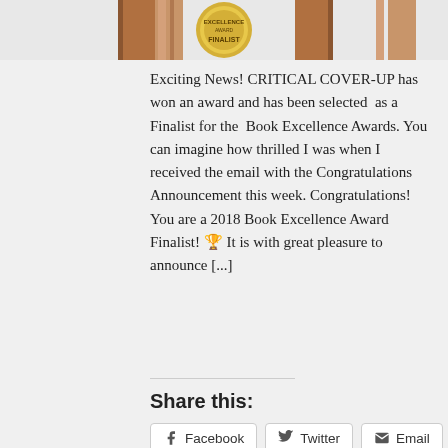[Figure (photo): Top portion of a book display image with a gold 'Finalist' medal/badge visible in the center, and wooden book-stand legs on left and right sides.]
Exciting News! CRITICAL COVER-UP has won an award and has been selected as a Finalist for the Book Excellence Awards. You can imagine how thrilled I was when I received the email with the Congratulations Announcement this week. Congratulations! You are a 2018 Book Excellence Award Finalist! 🏆 It is with great pleasure to announce [...]
Share this:
Facebook
Twitter
Email
LinkedIn